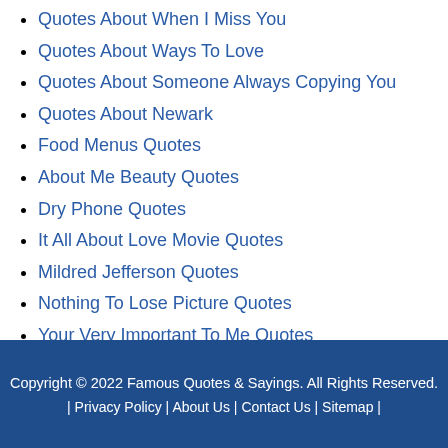Quotes About When I Miss You
Quotes About Ways To Love
Quotes About Someone Always Copying You
Quotes About Newark
Food Menus Quotes
About Me Beauty Quotes
Dry Phone Quotes
It All About Love Movie Quotes
Mildred Jefferson Quotes
Nothing To Lose Picture Quotes
Your Very Important To Me Quotes
Copyright © 2022 Famous Quotes & Sayings. All Rights Reserved. | Privacy Policy | About Us | Contact Us | Sitemap |